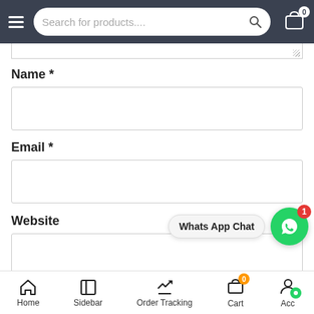[Figure (screenshot): E-commerce website header with hamburger menu, search bar reading 'Search for products....', search icon, and shopping cart icon with badge '0']
Name *
[Figure (other): Empty text input field for Name]
Email *
[Figure (other): Empty text input field for Email]
Website
[Figure (other): WhatsApp Chat bubble overlay with green WhatsApp icon and red badge '1']
[Figure (other): Empty text input field for Website]
Save my name, email, and website in this browser for the next time I comment.
[Figure (other): Bottom navigation bar with Home, Sidebar, Order Tracking, Cart (badge 0), and Account icons]